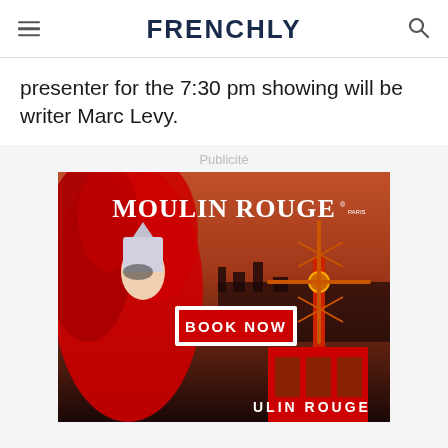FRENCHLY
presenter for the 7:30 pm showing will be writer Marc Levy.
Publicité
[Figure (photo): Moulin Rouge advertisement showing a performer in red feathers and headdress with the illuminated Moulin Rouge windmill in the background, with text 'MOULIN ROUGE' at top and 'BOOK NOW' button in the center, and 'MOULIN ROUGE' text at the bottom.]